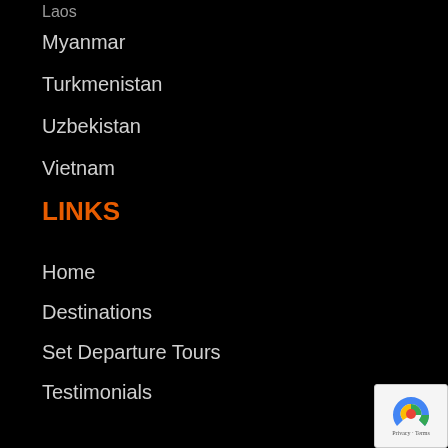Laos
Myanmar
Turkmenistan
Uzbekistan
Vietnam
LINKS
Home
Destinations
Set Departure Tours
Testimonials
Flights
Blog
About Us
Contact Us
[Figure (logo): reCAPTCHA badge with blue logo and Privacy - Terms text]